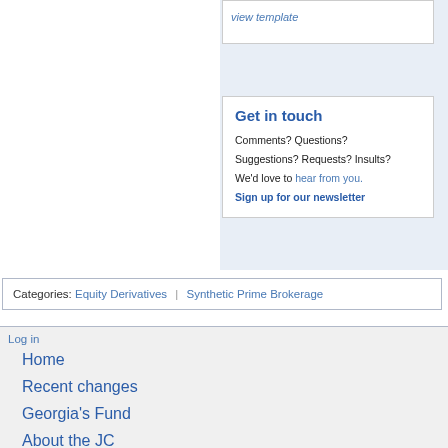view template
Get in touch
Comments? Questions?
Suggestions? Requests? Insults?
We'd love to hear from you.
Sign up for our newsletter
Categories:  Equity Derivatives | Synthetic Prime Brokerage
Log in
Home
Recent changes
Georgia's Fund
About the JC